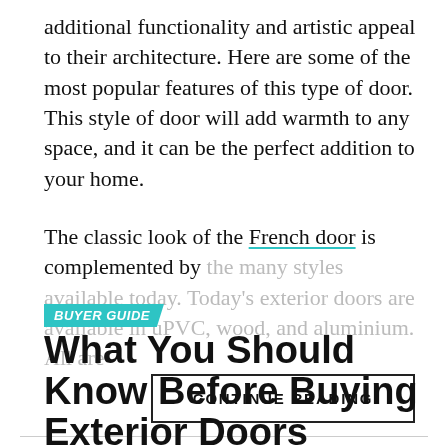additional functionality and artistic appeal to their architecture. Here are some of the most popular features of this type of door. This style of door will add warmth to any space, and it can be the perfect addition to your home.
The classic look of the French door is complemented by the many styles available today. Today's exterior doors are available in uPVC, wood, and aluminium. All are
CONTINUE READING
BUYER GUIDE
What You Should Know Before Buying Exterior Doors